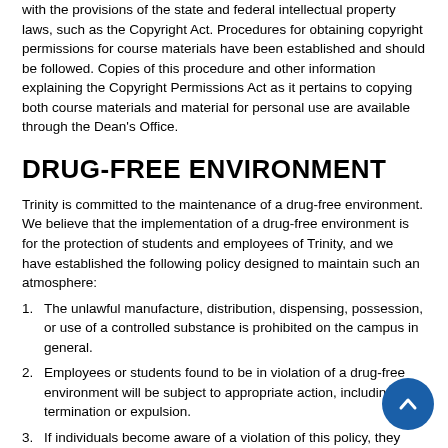with the provisions of the state and federal intellectual property laws, such as the Copyright Act. Procedures for obtaining copyright permissions for course materials have been established and should be followed. Copies of this procedure and other information explaining the Copyright Permissions Act as it pertains to copying both course materials and material for personal use are available through the Dean's Office.
DRUG-FREE ENVIRONMENT
Trinity is committed to the maintenance of a drug-free environment. We believe that the implementation of a drug-free environment is for the protection of students and employees of Trinity, and we have established the following policy designed to maintain such an atmosphere:
The unlawful manufacture, distribution, dispensing, possession, or use of a controlled substance is prohibited on the campus in general.
Employees or students found to be in violation of a drug-free environment will be subject to appropriate action, including termination or expulsion.
If individuals become aware of a violation of this policy, they